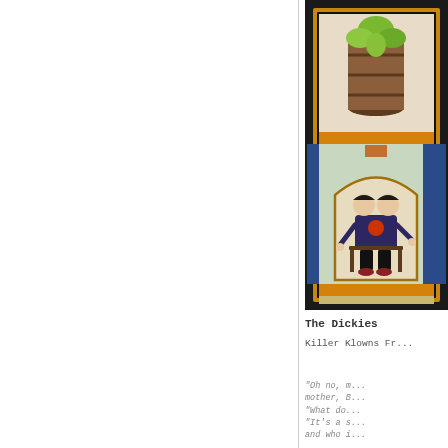[Figure (illustration): Album cover art for The Dickies - Killer Klowns From Outer Space. Shows a decorative panel-style illustration with a yellow/orange barrel at top containing a green plant, a middle panel with two conjoined figures (Siamese twins) in dark clothing seated on a chair, set against an orange and blue decorative border. The overall style resembles vintage carnival or sideshow art.]
The Dickies
Killer Klowns Fr...
"Oh no, m... mother, B... "What do... "It's a s... and who i...